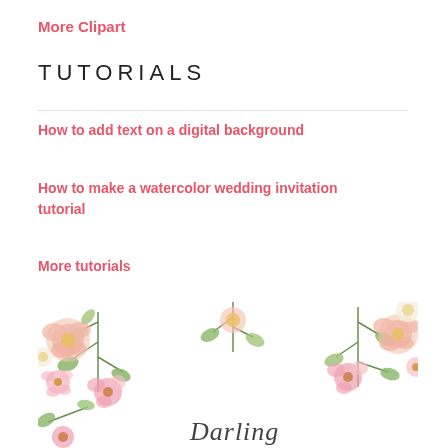More Clipart
TUTORIALS
How to add text on a digital background
How to make a watercolor wedding invitation tutorial
More tutorials
[Figure (illustration): Watercolor floral illustration with pink and white flowers, green eucalyptus leaves, and script text reading 'Darling' at the bottom]